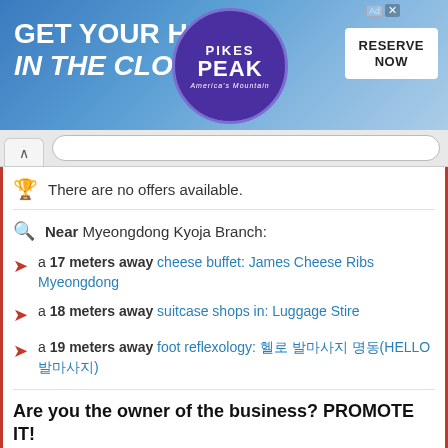[Figure (screenshot): Advertisement banner for Pikes Peak - America's Mountain. Text reads 'GET YOUR HEAD in the CLOUDS' with a purple circular logo for Pikes Peak and a white 'RESERVE NOW' button.]
There are no offers available.
Near Myeongdong Kyoja Branch:
a 17 meters away cheese buffet: James Cheese Ribs Myeongdong
a 18 meters away suitcase shops in: Luggage Stire
a 19 meters away foot reflexology: 헬로 발마사지 명동(HELLO 발마사지)
Are you the owner of the business? PROMOTE IT!
BE THE 1ST IN THE RANKING
EXCLUSIVE PAGE